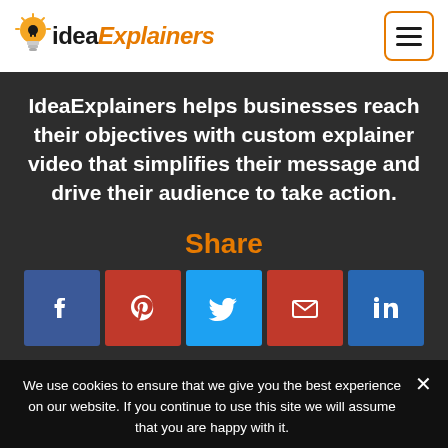idea Explainers
IdeaExplainers helps businesses reach their objectives with custom explainer video that simplifies their message and drive their audience to take action.
Share
[Figure (infographic): Row of 5 social share buttons: Facebook (blue), Pinterest (red), Twitter (blue), Email (red), LinkedIn (blue)]
We use cookies to ensure that we give you the best experience on our website. If you continue to use this site we will assume that you are happy with it.
Ok